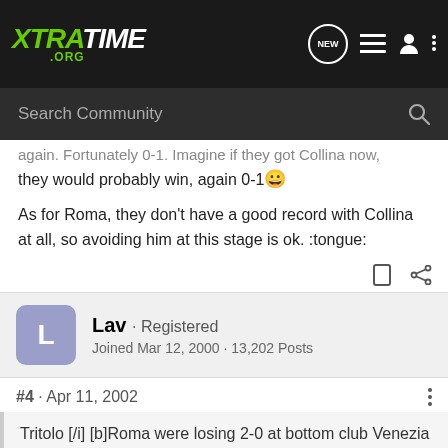XTRATIME .ORG
again. Fortunately 0-1. Imagine if they get Collina now, they would probably win, again 0-1 😀
As for Roma, they don't have a good record with Collina at all, so avoiding him at this stage is ok. :tongue:
Lav · Registered
Joined Mar 12, 2000 · 13,202 Posts
#4 · Apr 11, 2002
Tritolo [/i] [b]Roma were losing 2-0 at bottom club Venezia